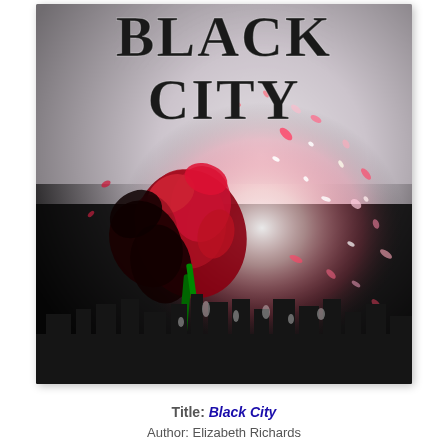[Figure (illustration): Book cover for 'Black City' featuring large bold serif title text 'BLACK CITY' at the top, with a dramatic image of a red rose exploding into petals and shards against a dark background with a city skyline silhouette at the bottom.]
Title: Black City
Author: Elizabeth Richards